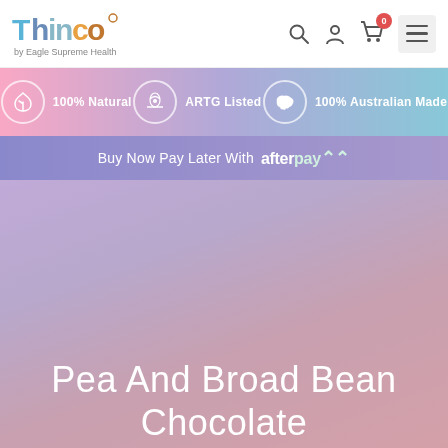Thinco by Eagle Supreme Health — navigation bar with search, account, cart (0), and menu icons
[Figure (infographic): Banner strip with three trust badges: '100% Natural', 'ARTG Listed', '100% Australian Made' on gradient pink-blue-teal background]
Buy Now Pay Later With afterpay
[Figure (photo): Hero gradient background in purple-pink tones with product image area]
Pea And Broad Bean Chocolate